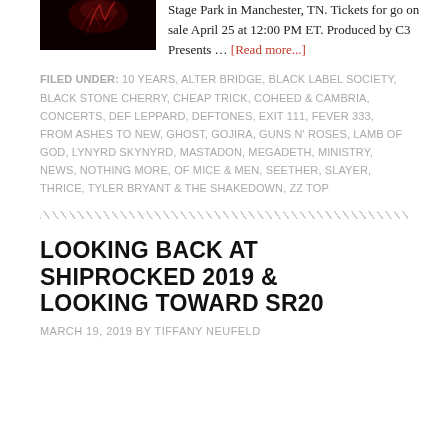[Figure (photo): Dark concert/band image with red lighting on black background]
Stage Park in Manchester, TN. Tickets for go on sale April 25 at 12:00 PM ET. Produced by C3 Presents … [Read more...]
FILED UNDER: 10 YEARS, ALTER BRIDGE, BLACK LABEL SOCIETY, BLACK STONE CHERRY, CHEAP TRICK, COHEED & CAMBRIA, CONCERTS, DEF LEPPARD, DEFTONES, EXIT 111, FEVER 333, FROM ASHES TO NEW, GHOST, GOJIRA, GUNS N' ROSES, LAMB OF GOD, LYNYRD SKYNYRD, MASTADON, MEGADETH, MINISTRY, NEWS, NOTHING MORE, OF MICE & MEN, SEETHER, SLAYER, THRICE, TYLER BRYANT & THE SHAKEDOWN, ZZ TOP
LOOKING BACK AT SHIPROCKED 2019 & LOOKING TOWARD SR20
MARCH 19, 2019 BY TIFFANY NEUFELD